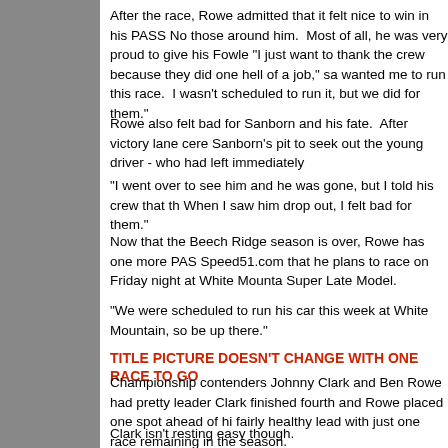After the race, Rowe admitted that it felt nice to win in his PASS No those around him.  Most of all, he was very proud to give his Fowle "I just want to thank the crew because they did one hell of a job," sa wanted me to run this race.  I wasn't scheduled to run it, but we did for them."
Rowe also felt bad for Sanborn and his fate.  After victory lane cere Sanborn's pit to seek out the young driver - who had left immediate
"I went over to see him and he was gone, but I told his crew that th When I saw him drop out, I felt bad for them."
Now that the Beech Ridge season is over, Rowe has one more PAS Speed51.com that he plans to race on Friday night at White Mounta Super Late Model.
"We were scheduled to run his car this week at White Mountain, so be up there."
TITLE PICTURE DOESN'T CHANGE WITH ONE RACE TO GO
Championship contenders Johnny Clark and Ben Rowe had pretty leader Clark finished fourth and Rowe placed one spot ahead of hi fairly healthy lead with just one race remaining in the season.
Clark isn't resting easy though.
"I definitely wanted to come out of here gaining points and we did